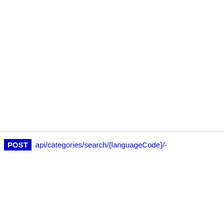POST api/categories/search/{languageCode}/-